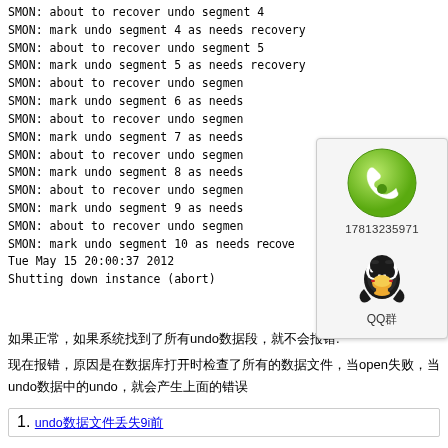SMON: about to recover undo segment 4
SMON: mark undo segment 4 as needs recovery
SMON: about to recover undo segment 5
SMON: mark undo segment 5 as needs recovery
SMON: about to recover undo segment 6
SMON: mark undo segment 6 as needs recovery
SMON: about to recover undo segment 7
SMON: mark undo segment 7 as needs recovery
SMON: about to recover undo segment 8
SMON: mark undo segment 8 as needs recovery
SMON: about to recover undo segment 9
SMON: mark undo segment 9 as needs recovery
SMON: about to recover undo segment 10
SMON: mark undo segment 10 as needs recovery
Tue May 15 20:00:37 2012
Shutting down instance (abort)
[Figure (other): Popup widget showing a green phone icon with phone number 17813235971 and a QQ penguin icon with label QQ群]
如果正常，如果系统找到了所有undo数据段，就不会报错.
现在报错，原因是在数据库打开时检查了所有的数据文件，当open失败，当undo数据中的undo，就会产生上面的错误
undo数据文件丢失9i前